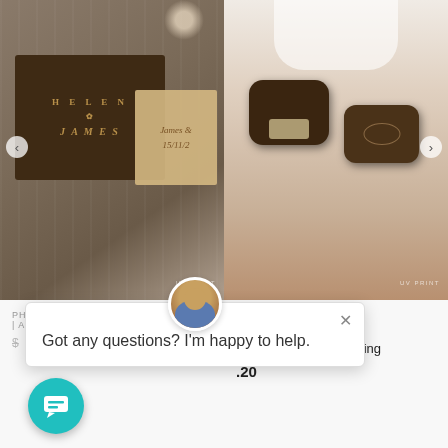[Figure (photo): Left product photo: engraved wooden photo box with 'HELEN JAMES' circular text carved on dark walnut surface, and a lighter wood box behind it with 'James & 15/11/2' visible. UV PRINT watermark. Navigation arrow on left.]
[Figure (photo): Right product photo: person in white dress holding two dark walnut oval wooden ring boxes, one open showing a diamond ring on burlap lining, one closed with engraved design. UV PRINT watermark. Navigation arrow on right.]
PSAKE BOXES
epsake Box – Custom
raved Oval Wooden Ring
.20
Photography | Wedding Photos | Anniversary Gift
$99.66
[Figure (screenshot): Chat popup overlay with agent avatar photo, close X button, and message: 'Got any questions? I'm happy to help.']
[Figure (other): Teal circular chat button with speech bubble icon in bottom left]